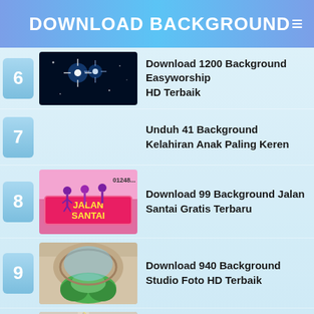DOWNLOAD BACKGROUND
Download 1200 Background Easyworship HD Terbaik
Unduh 41 Background Kelahiran Anak Paling Keren
Download 99 Background Jalan Santai Gratis Terbaru
Download 940 Background Studio Foto HD Terbaik
Unduh 1080+ Background Hd Kabah Gratis Terbaru